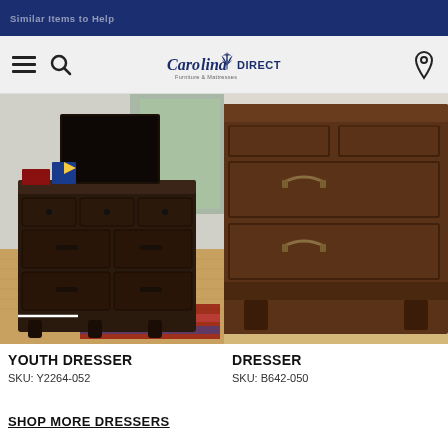Similar Items to Help
[Figure (photo): Carolina Direct Furniture & Mattresses logo with menu and search icons on left, location pin icon on right, against light gray navigation bar]
[Figure (photo): Dark brown wooden youth dresser with 7 drawers and dark hardware knobs, on hardwood floor with striped rug]
[Figure (photo): Medium brown wooden dresser close-up showing drawers with antique-style hardware handles]
YOUTH DRESSER
SKU: Y2264-052
DRESSER
SKU: B642-050
SHOP MORE DRESSERS